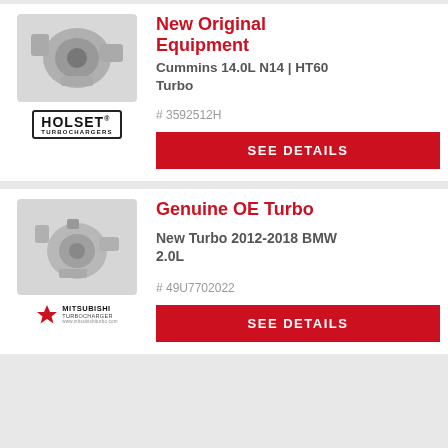New Original Equipment
Cummins 14.0L N14 | HT60 Turbo
[Figure (photo): Holset HT60 turbocharger product photo on white background]
# 3592512H
[Figure (logo): Holset Turbochargers logo with bordered rectangle]
SEE DETAILS
Genuine OE Turbo
New Turbo 2012-2018 BMW 2.0L
[Figure (photo): Mitsubishi turbocharger product photo on white background]
# 49U7702022
[Figure (logo): Mitsubishi Turbocharger logo with three-diamond emblem]
SEE DETAILS